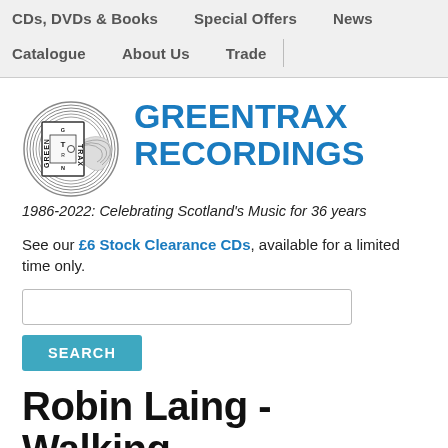CDs, DVDs & Books   Special Offers   News   Catalogue   About Us   Trade
[Figure (logo): Greentrax Recordings circular logo with vinyl record design and text GREEN TRAX in the center]
GREENTRAX RECORDINGS
1986-2022: Celebrating Scotland's Music for 36 years
See our £6 Stock Clearance CDs, available for a limited time only.
Robin Laing - Walking